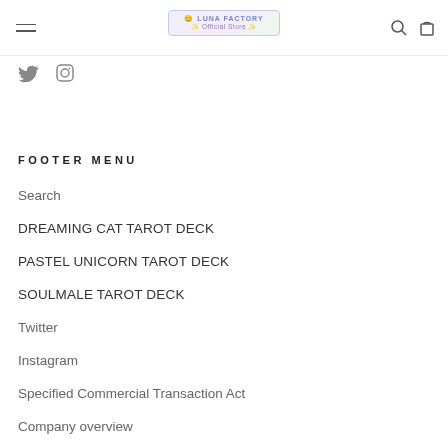Luna Factory Official Store — navigation header with hamburger menu, logo, search and cart icons
[Figure (logo): Twitter and Instagram social media icons]
FOOTER MENU
Search
DREAMING CAT TAROT DECK
PASTEL UNICORN TAROT DECK
SOULMALE TAROT DECK
Twitter
Instagram
Specified Commercial Transaction Act
Company overview
Product Usage Guidelines